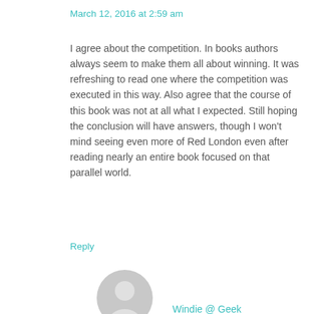March 12, 2016 at 2:59 am
I agree about the competition. In books authors always seem to make them all about winning. It was refreshing to read one where the competition was executed in this way. Also agree that the course of this book was not at all what I expected. Still hoping the conclusion will have answers, though I won't mind seeing even more of Red London even after reading nearly an entire book focused on that parallel world.
Reply
[Figure (illustration): Gray circular user avatar icon with silhouette of a person]
Windie @ Geek